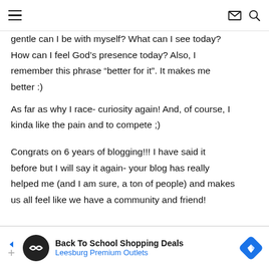[hamburger menu] [envelope icon] [search icon]
gentle can I be with myself? What can I see today? How can I feel God’s presence today? Also, I remember this phrase “better for it”. It makes me better :)
As far as why I race- curiosity again! And, of course, I kinda like the pain and to compete ;)
Congrats on 6 years of blogging!!! I have said it before but I will say it again- your blog has really helped me (and I am sure, a ton of people) and makes us all feel like we have a community and friend!
[Figure (infographic): Advertisement banner: Back To School Shopping Deals at Leesburg Premium Outlets]